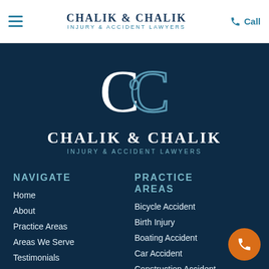CHALIK & CHALIK INJURY & ACCIDENT LAWYERS
[Figure (logo): Chalik & Chalik CC monogram logo in white and light blue on dark navy background, with firm name CHALIK & CHALIK and tagline INJURY & ACCIDENT LAWYERS]
NAVIGATE
Home
About
Practice Areas
Areas We Serve
Testimonials
Results
PRACTICE AREAS
Bicycle Accident
Birth Injury
Boating Accident
Car Accident
Construction Accident